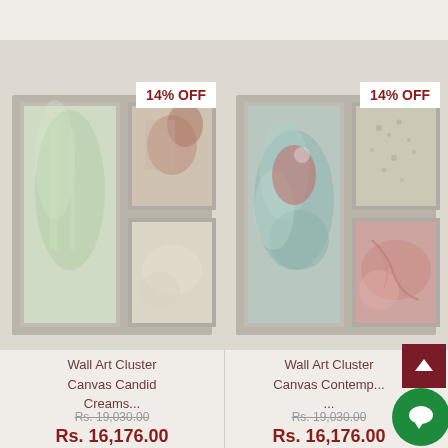[Figure (photo): Wall Art Cluster Canvas Candid Creams - multi-panel framed wall art set with cream, green, brown abstract compositions on beige background, 14% OFF badge]
Wall Art Cluster Canvas Candid Creams...
Rs. 19,030.00
Rs. 16,176.00
[Figure (photo): Wall Art Cluster Canvas Contemporary - multi-panel framed wall art set with teal/red/green abstract and floral motifs, 14% OFF badge]
Wall Art Cluster Canvas Contemp...
Rs. 19,030.00
Rs. 16,176.00